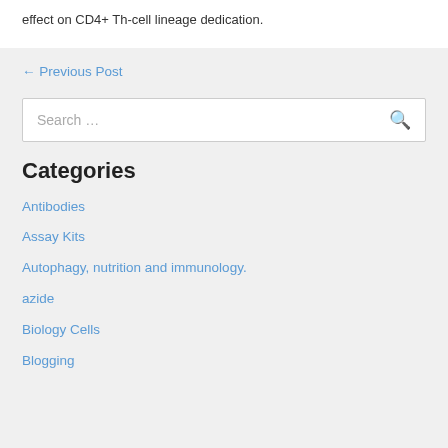effect on CD4+ Th-cell lineage dedication.
← Previous Post
Search …
Categories
Antibodies
Assay Kits
Autophagy, nutrition and immunology.
azide
Biology Cells
Blogging